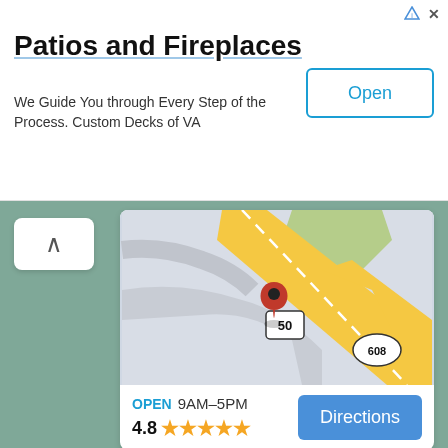Patios and Fireplaces
We Guide You through Every Step of the Process. Custom Decks of VA
Open
[Figure (map): Google Maps view showing a location pin at intersection of roads 50 and 608, with yellow highway roads and green areas]
OPEN 9AM–5PM
4.8 ★★★★★
Directions
Leave a Reply
Your email address will not be published. Required fields are marked *